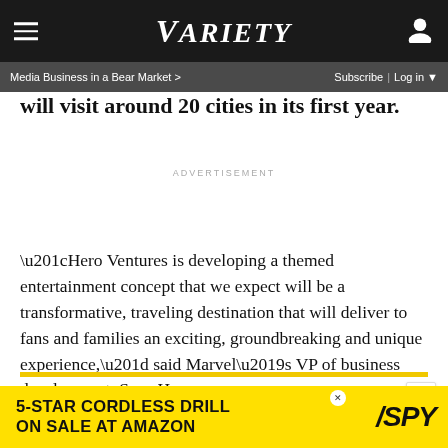VARIETY | Media Business in a Bear Market > | Subscribe | Log in
will visit around 20 cities in its first year.
ADVERTISEMENT
“Hero Ventures is developing a themed entertainment concept that we expect will be a transformative, traveling destination that will deliver to fans and families an exciting, groundbreaking and unique experience,” said Marvel’s VP of business development, Sean Haran.
Related Stories
[Figure (screenshot): 5-STAR CORDLESS DRILL ON SALE AT AMAZON - SPY advertisement banner]